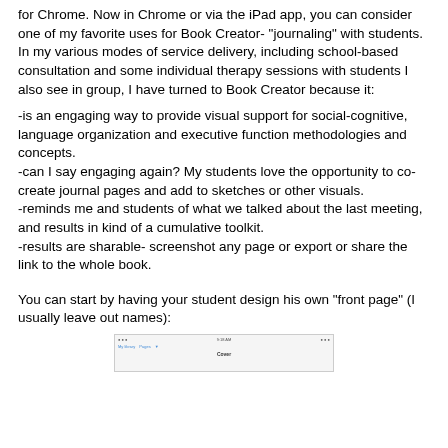for Chrome. Now in Chrome or via the iPad app, you can consider one of my favorite uses for Book Creator- "journaling" with students. In my various modes of service delivery, including school-based consultation and some individual therapy sessions with students I also see in group, I have turned to Book Creator because it:
-is an engaging way to provide visual support for social-cognitive, language organization and executive function methodologies and concepts.
-can I say engaging again? My students love the opportunity to co-create journal pages and add to sketches or other visuals.
-reminds me and students of what we talked about the last meeting, and results in kind of a cumulative toolkit.
-results are sharable- screenshot any page or export or share the link to the whole book.
You can start by having your student design his own "front page" (I usually leave out names):
[Figure (screenshot): A partial screenshot of the Book Creator interface showing the top navigation bar of a book page.]